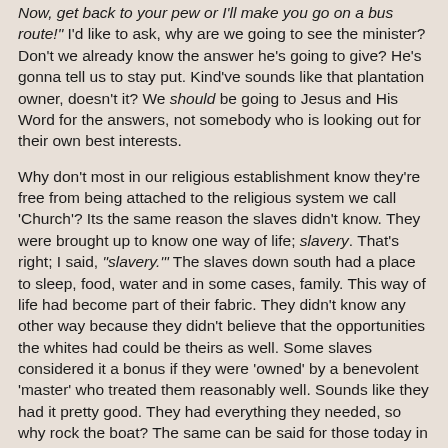Now, get back to your pew or I'll make you go on a bus route!" I'd like to ask, why are we going to see the minister? Don't we already know the answer he's going to give? He's gonna tell us to stay put. Kind've sounds like that plantation owner, doesn't it? We should be going to Jesus and His Word for the answers, not somebody who is looking out for their own best interests.
Why don't most in our religious establishment know they're free from being attached to the religious system we call 'Church'? Its the same reason the slaves didn't know. They were brought up to know one way of life; slavery. That's right; I said, "slavery.'" The slaves down south had a place to sleep, food, water and in some cases, family. This way of life had become part of their fabric. They didn't know any other way because they didn't believe that the opportunities the whites had could be theirs as well. Some slaves considered it a bonus if they were 'owned' by a benevolent 'master' who treated them reasonably well. Sounds like they had it pretty good. They had everything they needed, so why rock the boat? The same can be said for those today in a 'Church' organization. They have everything they need as well, right? They have their pastor, buildings, programs, jobs, teaching...